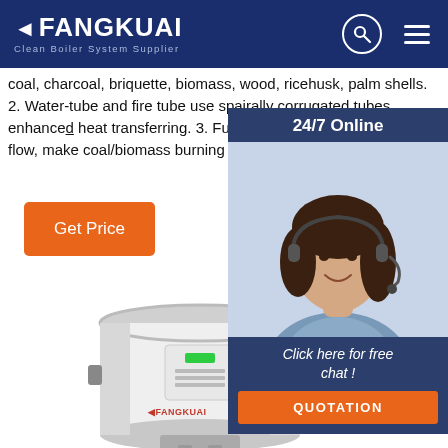FANGKUAI - Clean Boiler System Supplier
coal, charcoal, briquette, biomass, wood, ricehusk, palm shells. 2. Water-tube and fire tube use spairally corrugated tubes, enhanced heat transferring. 3. Furnace arch with upside down flow, make coal/biomass burning sufficiently. 4.
Get Price
[Figure (photo): 24/7 Online customer support agent - woman with headset smiling]
Click here for free chat !
QUOTATION
[Figure (photo): Fangkuai boiler product - white cylindrical boiler unit with control panel]
[Figure (infographic): TOP button icon - orange dots in triangle pattern above TOP text]